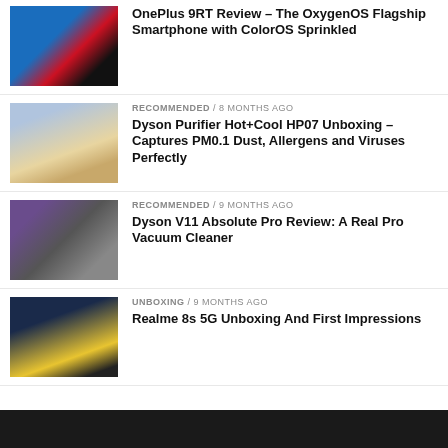[Figure (photo): OnePlus 9RT smartphone thumbnail]
OnePlus 9RT Review – The OxygenOS Flagship Smartphone with ColorOS Sprinkled
[Figure (photo): Dyson Purifier HP07 thumbnail]
RECOMMENDED / 8 months ago
Dyson Purifier Hot+Cool HP07 Unboxing – Captures PM0.1 Dust, Allergens and Viruses Perfectly
[Figure (photo): Dyson V11 vacuum cleaner thumbnail]
RECOMMENDED / 9 months ago
Dyson V11 Absolute Pro Review: A Real Pro Vacuum Cleaner
[Figure (photo): Realme 8s 5G smartphone thumbnail]
UNBOXING / 9 months ago
Realme 8s 5G Unboxing And First Impressions